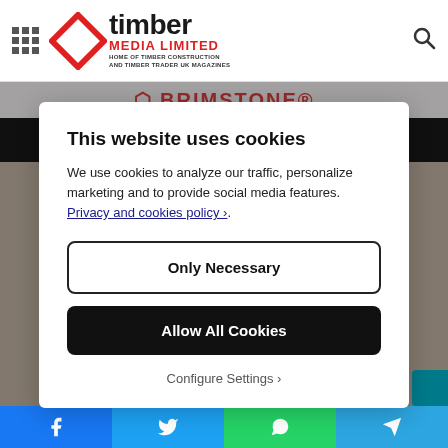[Figure (logo): Timber Media Limited logo with red diamond shape, bold 'timber' wordmark, 'MEDIA LIMITED' in red, tagline 'HOME OF TIMBER CONSTRUCTION AND TIMBER TRADER UK MAGAZINES']
This website uses cookies
We use cookies to analyze our traffic, personalize marketing and to provide social media features. Privacy and cookies policy ›.
Only Necessary
Allow All Cookies
Configure Settings ›
[Figure (infographic): Social media share bar at bottom with Facebook, Twitter, WhatsApp, and Telegram buttons]